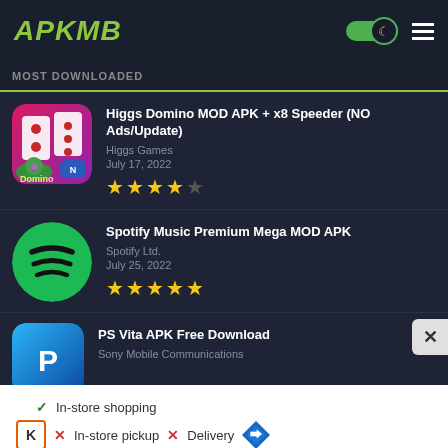APKMB
MOST DOWNLOADED
[Figure (screenshot): Higgs Domino app icon with domino tiles and cartoon character]
Higgs Domino MOD APK + x8 Speeder (NO Ads/Update)
Higgs Games
July 17, 2022
★★★★☆
[Figure (logo): Spotify green circle logo with sound wave lines]
Spotify Music Premium Mega MOD APK
Spotify Ltd.
July 25, 2022
★★★★★
[Figure (logo): PlayStation blue logo with P and D letters]
PS Vita APK Free Download
Sony Mobile Communications
[Figure (screenshot): Advertisement: In-store shopping checkmark, In-store pickup X, Delivery X with navigation arrow icon and Kohl's logo]